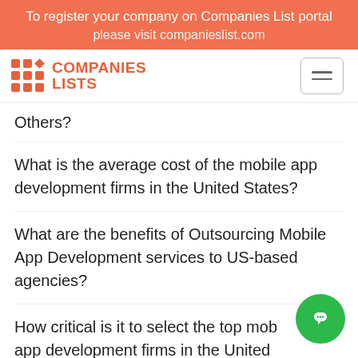To register your company on Companies List portal please visit companieslist.com
[Figure (logo): Companies Lists logo with orange grid dots and diamond icon, orange bold text reading COMPANIES LISTS]
Others?
What is the average cost of the mobile app development firms in the United States?
What are the benefits of Outsourcing Mobile App Development services to US-based agencies?
How critical is it to select the top mobile app development firms in the United